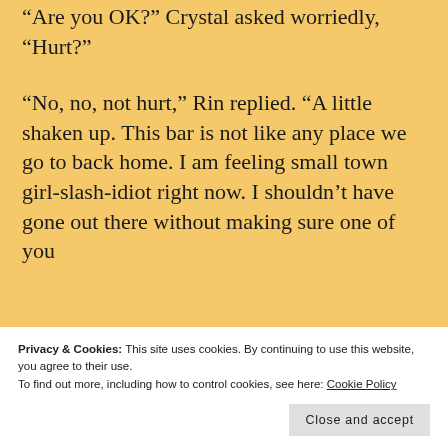“Are you OK?” Crystal asked worriedly, “Hurt?”
“No, no, not hurt,” Rin replied. “A little shaken up. This bar is not like any place we go to back home. I am feeling small town girl-slash-idiot right now. I shouldn’t have gone out there without making sure one of you
Privacy & Cookies: This site uses cookies. By continuing to use this website, you agree to their use.
To find out more, including how to control cookies, see here: Cookie Policy
Close and accept